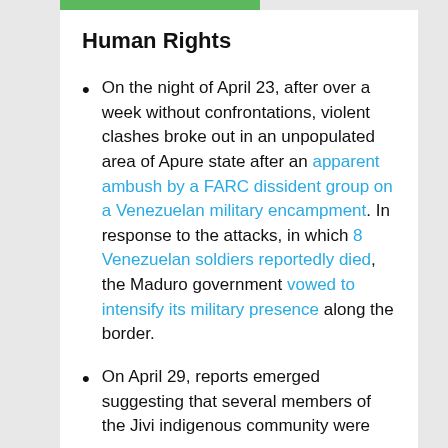Human Rights
On the night of April 23, after over a week without confrontations, violent clashes broke out in an unpopulated area of Apure state after an apparent ambush by a FARC dissident group on a Venezuelan military encampment. In response to the attacks, in which 8 Venezuelan soldiers reportedly died, the Maduro government vowed to intensify its military presence along the border.
On April 29, reports emerged suggesting that several members of the Jivi indigenous community were...